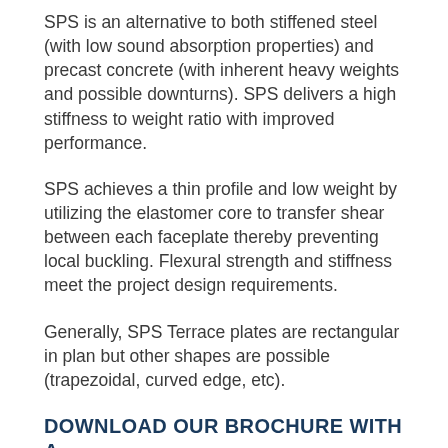SPS is an alternative to both stiffened steel (with low sound absorption properties) and precast concrete (with inherent heavy weights and possible downturns). SPS delivers a high stiffness to weight ratio with improved performance.
SPS achieves a thin profile and low weight by utilizing the elastomer core to transfer shear between each faceplate thereby preventing local buckling. Flexural strength and stiffness meet the project design requirements.
Generally, SPS Terrace plates are rectangular in plan but other shapes are possible (trapezoidal, curved edge, etc).
DOWNLOAD OUR BROCHURE WITH A